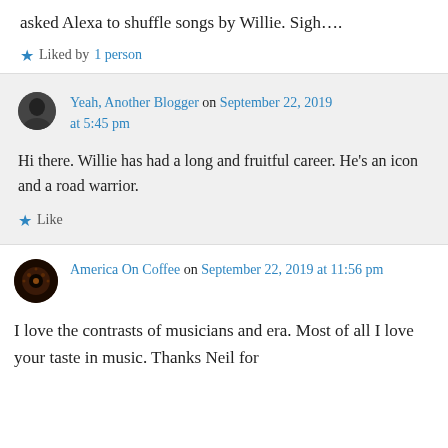Thanks for the mention of a favorite artist. I just asked Alexa to shuffle songs by Willie. Sigh….
★ Liked by 1 person
Yeah, Another Blogger on September 22, 2019 at 5:45 pm
Hi there. Willie has had a long and fruitful career. He's an icon and a road warrior.
★ Like
America On Coffee on September 22, 2019 at 11:56 pm
I love the contrasts of musicians and era. Most of all I love your taste in music. Thanks Neil for